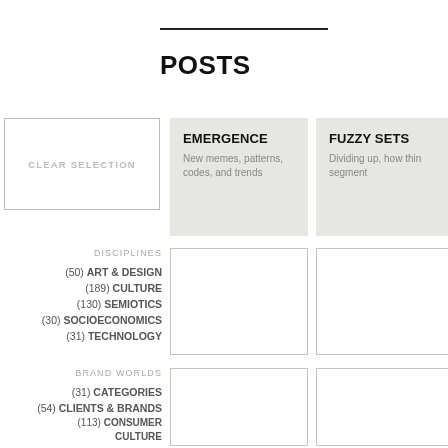POSTS
CLEAR SELECTION
[Figure (other): EMERGENCE card - New memes, patterns, codes, and trends]
[Figure (other): FUZZY SETS card - Dividing up, how things segment]
DISCIPLINES
(50) ART & DESIGN
(189) CULTURE
(130) SEMIOTICS
(30) SOCIOECONOMICS
(31) TECHNOLOGY
[Figure (other): Empty card placeholder]
[Figure (other): Empty card placeholder]
BRAND WORLDS
(31) CATEGORIES
(54) CLIENTS & BRANDS
(113) CONSUMER CULTURE
(26) EXPERTS & AGENCIES
(37) GLOBAL/LOCAL
[Figure (other): Empty card placeholder]
[Figure (other): Empty card placeholder]